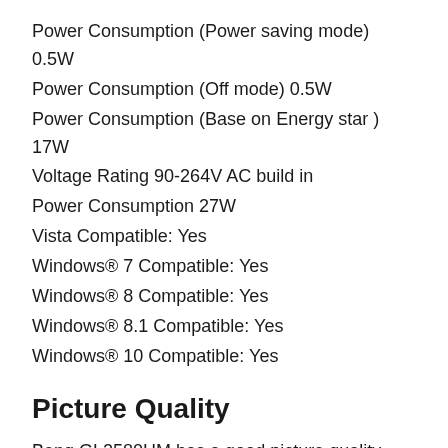Power Consumption (Power saving mode) 0.5W
Power Consumption (Off mode) 0.5W
Power Consumption (Base on Energy star ) 17W
Voltage Rating 90-264V AC build in
Power Consumption 27W
Vista Compatible: Yes
Windows® 7 Compatible: Yes
Windows® 8 Compatible: Yes
Windows® 8.1 Compatible: Yes
Windows® 10 Compatible: Yes
Picture Quality
Benq GL2580HM has a good picture quality. The full HD resolution is the most common amongst